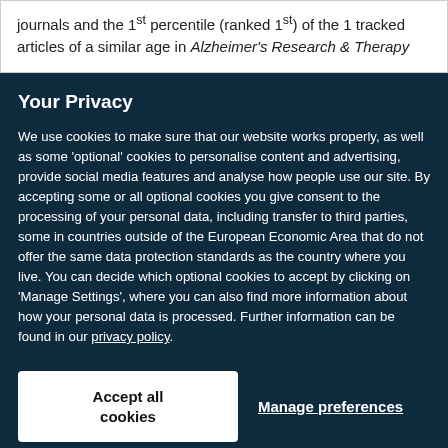journals and the 1st percentile (ranked 1st) of the 1 tracked articles of a similar age in Alzheimer's Research & Therapy
Your Privacy
We use cookies to make sure that our website works properly, as well as some 'optional' cookies to personalise content and advertising, provide social media features and analyse how people use our site. By accepting some or all optional cookies you give consent to the processing of your personal data, including transfer to third parties, some in countries outside of the European Economic Area that do not offer the same data protection standards as the country where you live. You can decide which optional cookies to accept by clicking on 'Manage Settings', where you can also find more information about how your personal data is processed. Further information can be found in our privacy policy.
Accept all cookies
Manage preferences